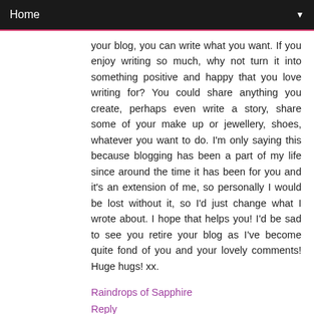Home
your blog, you can write what you want. If you enjoy writing so much, why not turn it into something positive and happy that you love writing for? You could share anything you create, perhaps even write a story, share some of your make up or jewellery, shoes, whatever you want to do. I'm only saying this because blogging has been a part of my life since around the time it has been for you and it's an extension of me, so personally I would be lost without it, so I'd just change what I wrote about. I hope that helps you! I'd be sad to see you retire your blog as I've become quite fond of you and your lovely comments! Huge hugs! xx.
Raindrops of Sapphire
Reply
PinkPanthress Wednesday, November 11, 2015 11:29:00 AM
Hm, I guess in the End it really is up to you if you really want to continue your blog. I will miss it for sure!